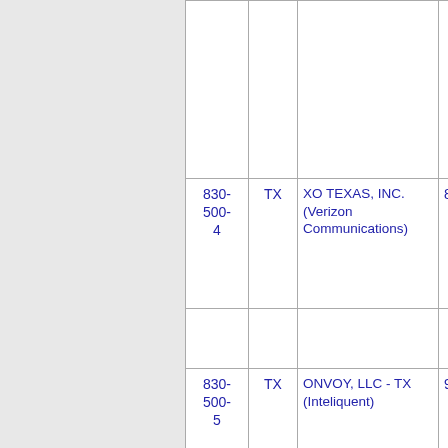| NPA-NXX | State | Company |  |
| --- | --- | --- | --- |
|  |  |  |  |
| 830-500-4 | TX | XO TEXAS, INC. (Verizon Communications) | 8 |
|  |  |  |  |
| 830-500-5 | TX | ONVOY, LLC - TX (Inteliquent) | 9 |